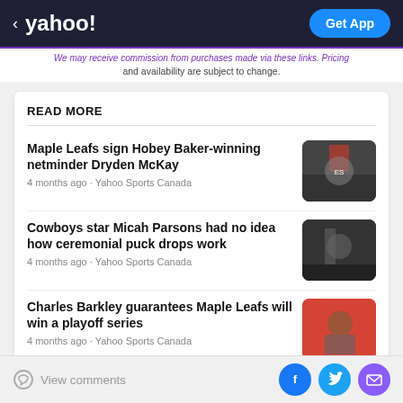< yahoo! | Get App
We may receive commission from purchases made via these links. Pricing and availability are subject to change.
READ MORE
Maple Leafs sign Hobey Baker-winning netminder Dryden McKay
4 months ago · Yahoo Sports Canada
[Figure (photo): Hockey goalie photo thumbnail]
Cowboys star Micah Parsons had no idea how ceremonial puck drops work
4 months ago · Yahoo Sports Canada
[Figure (photo): Hockey ceremonial puck drop photo thumbnail]
Charles Barkley guarantees Maple Leafs will win a playoff series
4 months ago · Yahoo Sports Canada
[Figure (photo): Charles Barkley photo thumbnail]
View comments